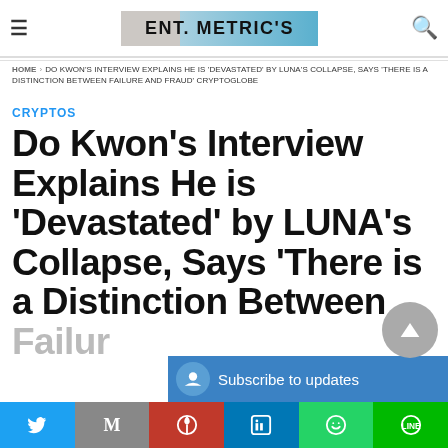ENT. METRIC'S
HOME › DO KWON'S INTERVIEW EXPLAINS HE IS 'DEVASTATED' BY LUNA'S COLLAPSE, SAYS 'THERE IS A DISTINCTION BETWEEN FAILURE AND FRAUD' CRYPTOGLOBE
CRYPTOS
Do Kwon's Interview Explains He is 'Devastated' by LUNA's Collapse, Says 'There is a Distinction Between Failure...
Subscribe to updates